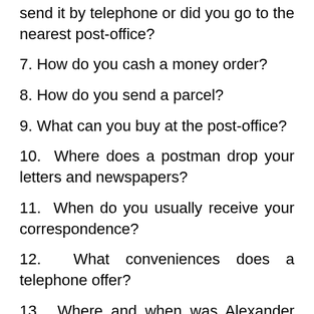send it by telephone or did you go to the nearest post-office?
7. How do you cash a money order?
8. How do you send a parcel?
9. What can you buy at the post-office?
10. Where does a postman drop your letters and newspapers?
11. When do you usually receive your correspondence?
12. What conveniences does a telephone offer?
13. Where and when was Alexander Bell born?